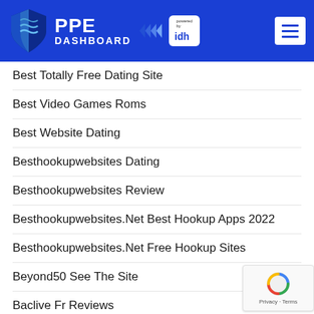PPE DASHBOARD powered by idh
Best Totally Free Dating Site
Best Video Games Roms
Best Website Dating
Besthookupwebsites Dating
Besthookupwebsites Review
Besthookupwebsites.Net Best Hookup Apps 2022
Besthookupwebsites.Net Free Hookup Sites
Beyond50 See The Site
Baclive Fr Reviews